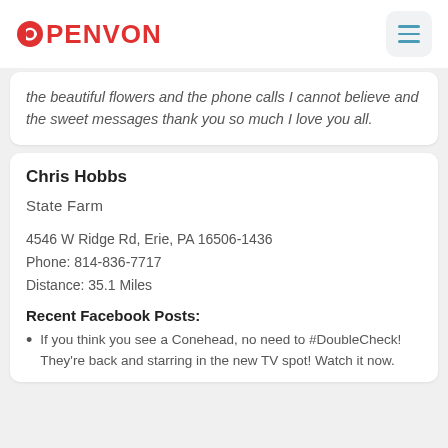PENVON
the beautiful flowers and the phone calls I cannot believe and the sweet messages thank you so much I love you all.
Chris Hobbs

State Farm

4546 W Ridge Rd, Erie, PA 16506-1436
Phone: 814-836-7717
Distance: 35.1 Miles

Recent Facebook Posts:
• If you think you see a Conehead, no need to #DoubleCheck! They're back and starring in the new TV spot! Watch it now.